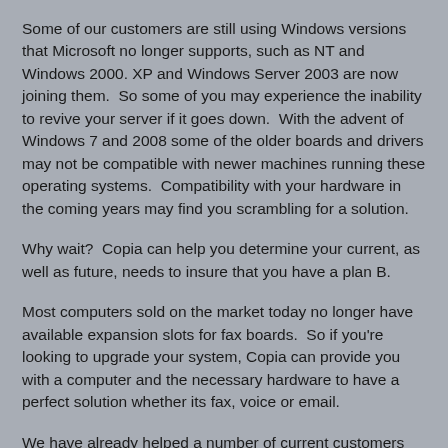Some of our customers are still using Windows versions that Microsoft no longer supports, such as NT and Windows 2000. XP and Windows Server 2003 are now joining them. So some of you may experience the inability to revive your server if it goes down. With the advent of Windows 7 and 2008 some of the older boards and drivers may not be compatible with newer machines running these operating systems. Compatibility with your hardware in the coming years may find you scrambling for a solution.
Why wait? Copia can help you determine your current, as well as future, needs to insure that you have a plan B.
Most computers sold on the market today no longer have available expansion slots for fax boards. So if you're looking to upgrade your system, Copia can provide you with a computer and the necessary hardware to have a perfect solution whether its fax, voice or email.
We have already helped a number of current customers with a plan B solution, so don't delay; call your salesperson here at Copia to find out more. 800-689-8898 or 630-388-6900.